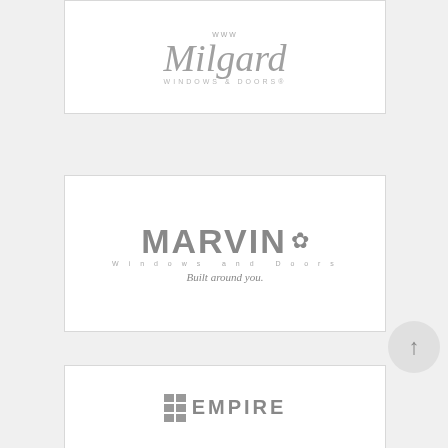[Figure (logo): Milgard Windows & Doors logo in gray tones on white card background]
[Figure (logo): Marvin Windows and Doors logo with decorative flower element. Text reads: MARVIN, Windows and Doors, Built around you.]
[Figure (logo): Empire logo partially visible, showing block pattern and bold text EMPIRE in gray]